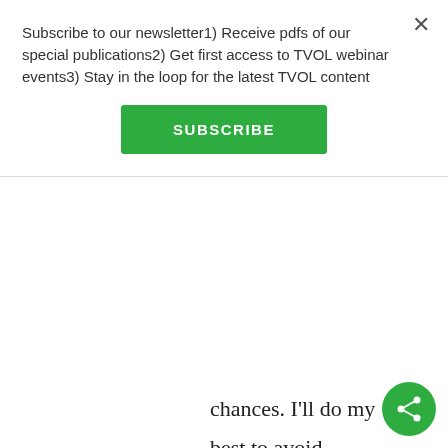Subscribe to our newsletter1) Receive pdfs of our special publications2) Get first access to TVOL webinar events3) Stay in the loop for the latest TVOL content
SUBSCRIBE
chances. I'll do my best to avoid becoming an outcast...
The case of Japan is not quite as straightforward as